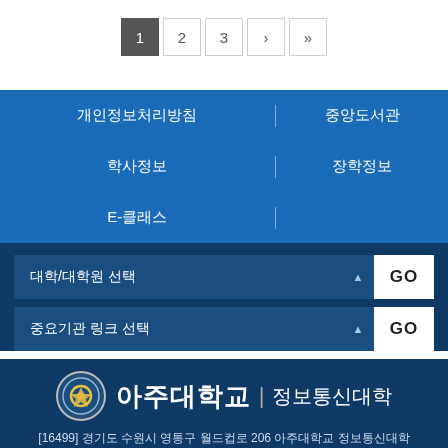[Figure (other): Pagination control showing buttons: 1 (active/dark), 2, 3, >, >>]
개인정보처리방침
중앙도서관
학사정보
장학정보
E-클래스
대학/대학원 선택  GO
중요기관 링크 선택  GO
아주대학교 | 정보통신대학
[16499] 경기도 수원시 영통구 월드컵로 206 아주대학교 정보통신대학
TEL : 031-219-1981